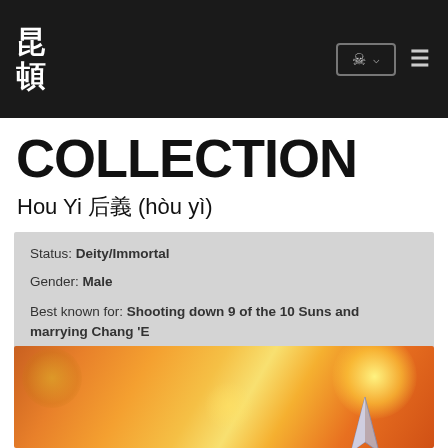昆頓 (logo) + globe icon + hamburger menu
COLLECTION
Hou Yi 后羿 (hòu yì)
Status: Deity/Immortal
Gender: Male
Best known for: Shooting down 9 of the 10 Suns and marrying Chang 'E
Pronunciation: (audio file coming soon)
[Figure (illustration): Blurred warm-toned illustration with orange and yellow bokeh light effects, likely depicting a fiery/celestial scene related to Hou Yi, with an arrow or spear tip visible at bottom center-right]